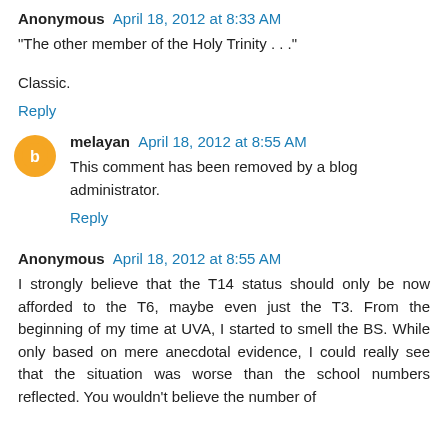Anonymous April 18, 2012 at 8:33 AM
"The other member of the Holy Trinity . . ."
Classic.
Reply
melayan April 18, 2012 at 8:55 AM
This comment has been removed by a blog administrator.
Reply
Anonymous April 18, 2012 at 8:55 AM
I strongly believe that the T14 status should only be now afforded to the T6, maybe even just the T3. From the beginning of my time at UVA, I started to smell the BS. While only based on mere anecdotal evidence, I could really see that the situation was worse than the school numbers reflected. You wouldn't believe the number of